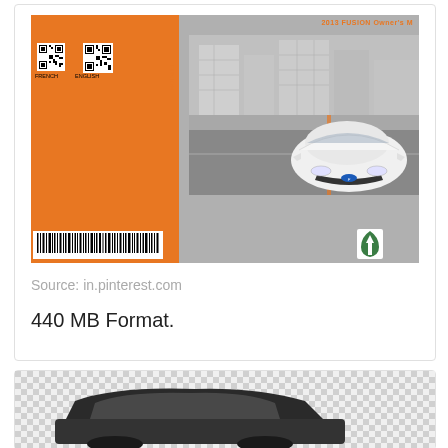[Figure (photo): Ford Fusion Owner's Manual cover showing orange left panel with QR codes and barcode, and a white Ford Fusion car on a gray urban background on the right side. Header reads '2013 FUSION Owner's M']
Source: in.pinterest.com
440 MB Format.
[Figure (photo): Partial view of a dark Ford Fusion car on a checkered/transparent background, cropped at the bottom of the page]